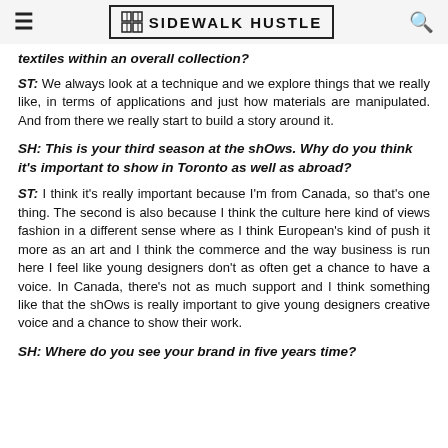≡  SIDEWALK HUSTLE  🔍
textiles within an overall collection?
ST: We always look at a technique and we explore things that we really like, in terms of applications and just how materials are manipulated. And from there we really start to build a story around it.
SH: This is your third season at the shOws. Why do you think it's important to show in Toronto as well as abroad?
ST: I think it's really important because I'm from Canada, so that's one thing. The second is also because I think the culture here kind of views fashion in a different sense where as I think European's kind of push it more as an art and I think the commerce and the way business is run here I feel like young designers don't as often get a chance to have a voice. In Canada, there's not as much support and I think something like that the shOws is really important to give young designers creative voice and a chance to show their work.
SH: Where do you see your brand in five years time?